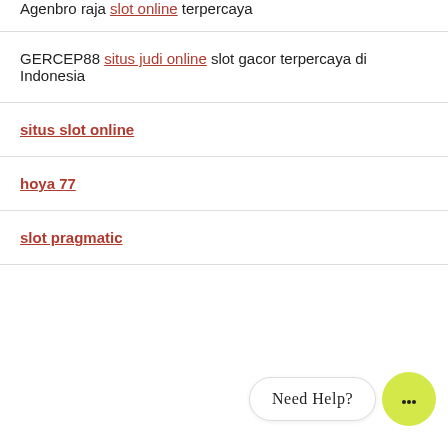Agenbro raja slot online terpercaya
GERCEP88 situs judi online slot gacor terpercaya di Indonesia
situs slot online
hoya 77
slot pragmatic